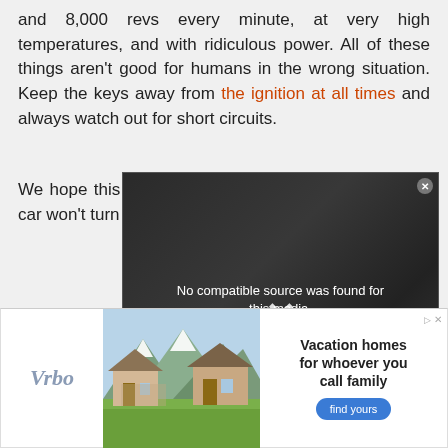and 8,000 revs every minute, at very high temperatures, and with ridiculous power. All of these things aren't good for humans in the wrong situation. Keep the keys away from the ignition at all times and always watch out for short circuits.
We hope this article has been useful and that, if your car won't turn over, now you know exactly what to do.
[Figure (screenshot): Video player overlay with dark background showing car interior. Message reads 'No compatible source was found for this media.' with an X close button. Sidebar shows text: BANK OWNED CARS FOR SALE, HOW MUCH IS MY CAR WORTH]
[Figure (other): Advertisement banner for Vrbo vacation rentals. Shows Vrbo logo, image of mountain vacation homes, and text 'Vacation homes for whoever you call family' with a blue 'find yours' button.]